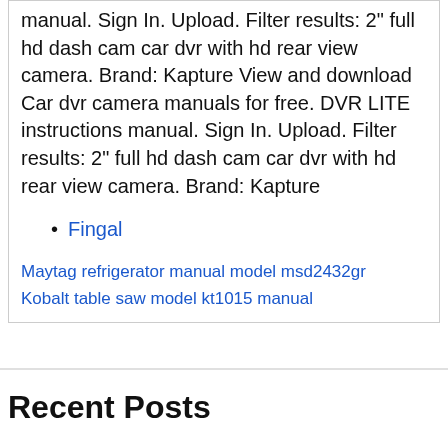manual. Sign In. Upload. Filter results: 2" full hd dash cam car dvr with hd rear view camera. Brand: Kapture View and download Car dvr camera manuals for free. DVR LITE instructions manual. Sign In. Upload. Filter results: 2" full hd dash cam car dvr with hd rear view camera. Brand: Kapture
Fingal
Maytag refrigerator manual model msd2432gr
Kobalt table saw model kt1015 manual
Recent Posts